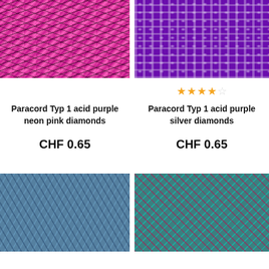[Figure (photo): Close-up of acid purple neon pink diamonds paracord rope texture]
[Figure (photo): Close-up of acid purple silver diamonds paracord rope texture]
Paracord Typ 1 acid purple neon pink diamonds
★★★★☆
Paracord Typ 1 acid purple silver diamonds
CHF 0.65
CHF 0.65
[Figure (photo): Close-up of blue steel paracord rope texture]
[Figure (photo): Close-up of teal red paracord rope texture]